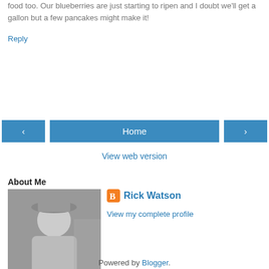food too. Our blueberries are just starting to ripen and I doubt we'll get a gallon but a few pancakes might make it!
Reply
Home
View web version
About Me
[Figure (photo): Black and white photo of Rick Watson wearing a hat]
Rick Watson
View my complete profile
Powered by Blogger.